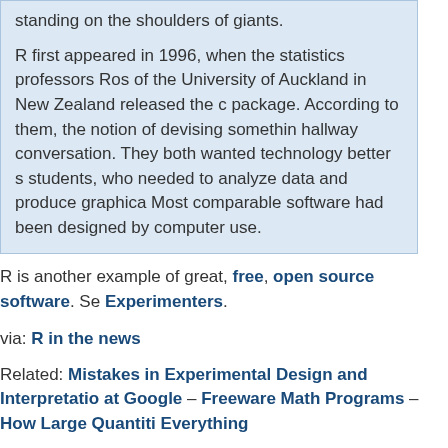standing on the shoulders of giants.

R first appeared in 1996, when the statistics professors Ros of the University of Auckland in New Zealand released the c package. According to them, the notion of devising somethin hallway conversation. They both wanted technology better s students, who needed to analyze data and produce graphica Most comparable software had been designed by computer use.
R is another example of great, free, open source software. Se Experimenters.
via: R in the news
Related: Mistakes in Experimental Design and Interpretatio at Google – Freeware Math Programs – How Large Quantiti Everything
Posted by curiouscat
Categories: Engineering, Math, Research, Students
Tags: computer science, data, Engineering, Math, open sc Science, Universities, usability